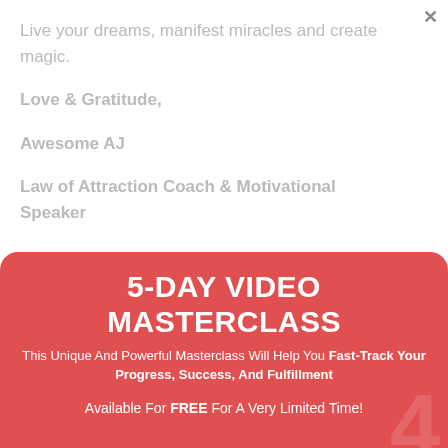Live your dreams, manifest miracles and create magic.
Love & Gratitude,
Awesome AJ
Law of Attraction Coach & Motivational Speaker
5-DAY VIDEO MASTERCLASS
This Unique And Powerful Masterclass Will Help You Fast-Track Your Progress, Success, And Fulfillment
Available For FREE For A Very Limited Time!